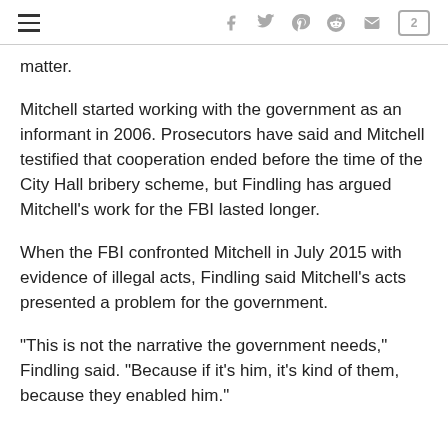≡  f  𝕥  𝕡  𝕣  ✉  💬2
matter.
Mitchell started working with the government as an informant in 2006. Prosecutors have said and Mitchell testified that cooperation ended before the time of the City Hall bribery scheme, but Findling has argued Mitchell's work for the FBI lasted longer.
When the FBI confronted Mitchell in July 2015 with evidence of illegal acts, Findling said Mitchell's acts presented a problem for the government.
“This is not the narrative the government needs,” Findling said. “Because if it’s him, it’s kind of them, because they enabled him.”